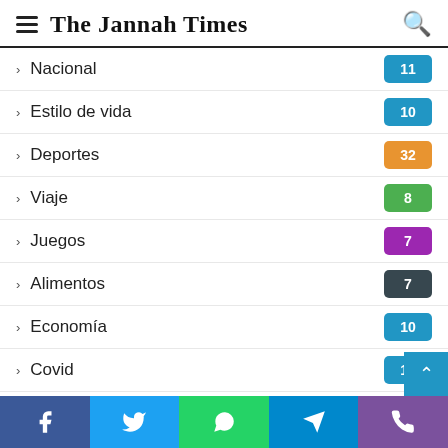The Jannah Times
Nacional 11
Estilo de vida 10
Deportes 32
Viaje 8
Juegos 7
Alimentos 7
Economía 10
Covid 10
Salud 10
Style 9
Showbiz
Facebook Twitter WhatsApp Telegram Viber